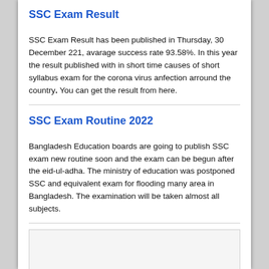SSC Exam Result
SSC Exam Result has been published in Thursday, 30 December 221, avarage success rate 93.58%. In this year the result published with in short time causes of short syllabus exam for the corona virus anfection arround the country. You can get the result from here.
SSC Exam Routine 2022
Bangladesh Education boards are going to publish SSC exam new routine soon and the exam can be begun after the eid-ul-adha. The ministry of education was postponed SSC and equivalent exam for flooding many area in Bangladesh. The examination will be taken almost all subjects.
[Figure (other): Empty placeholder box with light gray background and border]